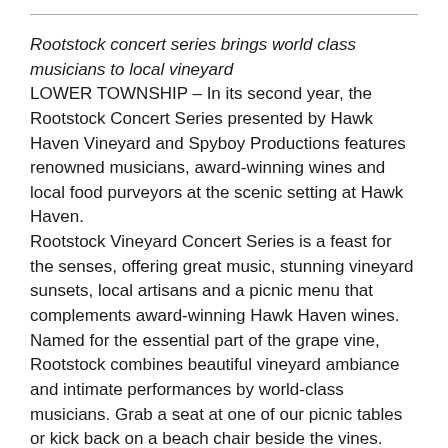Rootstock concert series brings world class musicians to local vineyard
LOWER TOWNSHIP – In its second year, the Rootstock Concert Series presented by Hawk Haven Vineyard and Spyboy Productions features renowned musicians, award-winning wines and local food purveyors at the scenic setting at Hawk Haven.
Rootstock Vineyard Concert Series is a feast for the senses, offering great music, stunning vineyard sunsets, local artisans and a picnic menu that complements award-winning Hawk Haven wines. Named for the essential part of the grape vine, Rootstock combines beautiful vineyard ambiance and intimate performances by world-class musicians. Grab a seat at one of our picnic tables or kick back on a beach chair beside the vines.
Mark your calendars for Friday, June 24 when Jeffrey